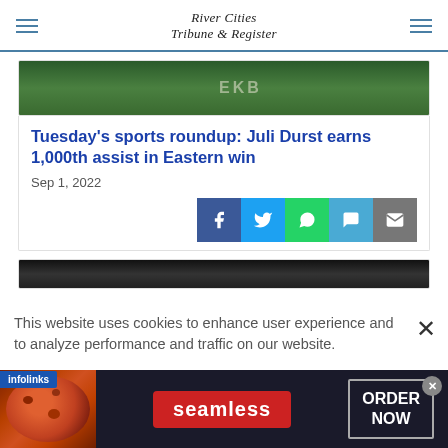River Cities Tribune & Register
[Figure (photo): Sports photo with green background, partial text visible]
Tuesday's sports roundup: Juli Durst earns 1,000th assist in Eastern win
Sep 1, 2022
[Figure (infographic): Social share buttons: Facebook, Twitter, WhatsApp, Chat, Email]
[Figure (photo): Second article photo, partially visible]
This website uses cookies to enhance user experience and to analyze performance and traffic on our website.
[Figure (other): Seamless food delivery advertisement banner with pizza image and ORDER NOW button]